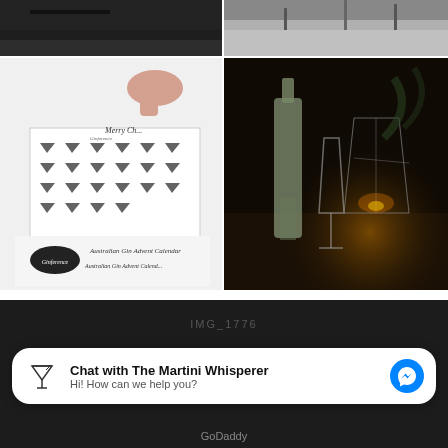[Figure (photo): Top-left dark photo (partial, cropped at top)]
[Figure (photo): Top-right dark geometric photo (partial, cropped at top)]
[Figure (photo): Bottom-left white background photo of Australian Gin Advent Calendar with a hand pulling a tab]
[Figure (photo): Bottom-right dark moody photo of a gin bottle, wine glass, geometric lantern and candle on a table]
IMG_1776
Chat with The Martini Whisperer
Hi! How can we help you?
GoDaddy